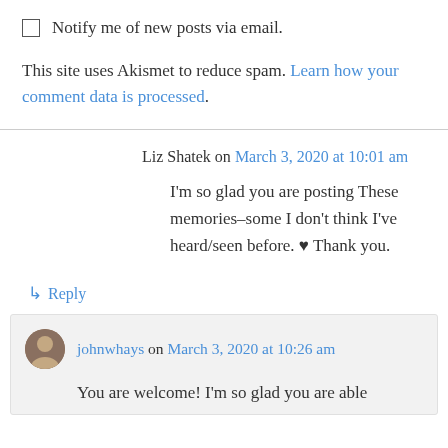Notify me of new posts via email.
This site uses Akismet to reduce spam. Learn how your comment data is processed.
Liz Shatek on March 3, 2020 at 10:01 am
I'm so glad you are posting These memories–some I don't think I've heard/seen before. ♥ Thank you.
↳ Reply
johnwhays on March 3, 2020 at 10:26 am
You are welcome! I'm so glad you are able